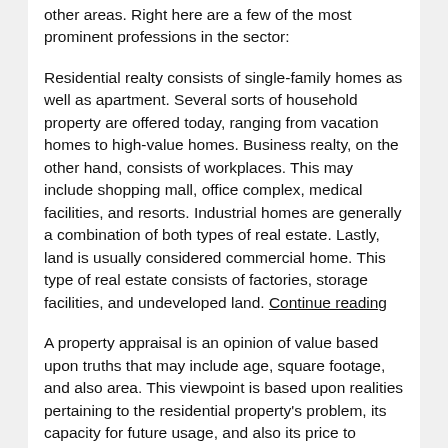other areas. Right here are a few of the most prominent professions in the sector:
Residential realty consists of single-family homes as well as apartment. Several sorts of household property are offered today, ranging from vacation homes to high-value homes. Business realty, on the other hand, consists of workplaces. This may include shopping mall, office complex, medical facilities, and resorts. Industrial homes are generally a combination of both types of real estate. Lastly, land is usually considered commercial home. This type of real estate consists of factories, storage facilities, and undeveloped land. Continue reading
A property appraisal is an opinion of value based upon truths that may include age, square footage, and also area. This viewpoint is based upon realities pertaining to the residential property's problem, its capacity for future usage, and also its price to change it. When an assessment is made, it comes to be an agreement in between two parties that want to make a deal and that don't intend to be pressed. The worth of a residential property is eventually